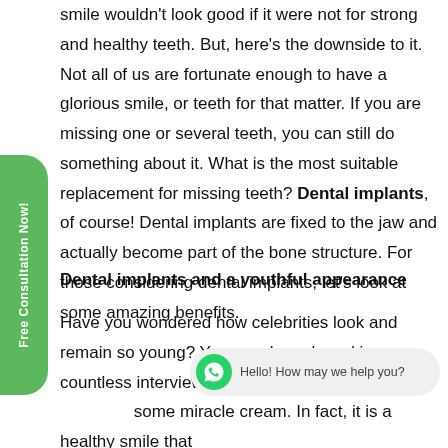smile wouldn't look good if it were not for strong and healthy teeth. But, here's the downside to it. Not all of us are fortunate enough to have a glorious smile, or teeth for that matter. If you are missing one or several teeth, you can still do something about it. What is the most suitable replacement for missing teeth? Dental implants, of course! Dental implants are fixed to the jaw and actually become part of the bone structure. For those considering dental implants, let's look at some amazing benefits.
Dental implants and a youthful appearance
Have you wondered how celebrities look and remain so young? You may have heard in countless interviews celebrities being asked, wh... some miracle cream. In fact, it is a healthy smile that